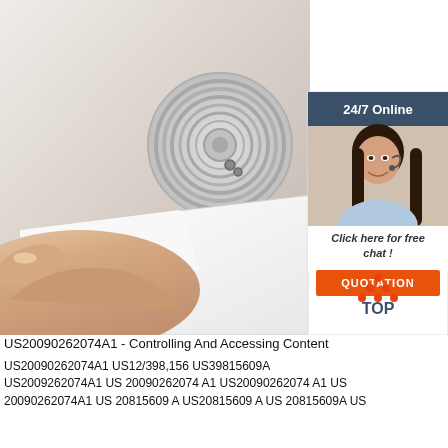[Figure (photo): Product photo of an NFC RFID sticker label being peeled from its backing, with a hand holding the label. White circular NFC tag visible. Customer service inset with '24/7 Online' header, woman with headset, 'Click here for free chat!' text, and orange QUOTATION button. TOP logo in lower right of photo area.]
US20090262074A1 - Controlling And Accessing Content
US20090262074A1 US12/398,156 US39815609A US2009262074A1 US 20090262074 A1 US20090262074 A1 US 20090262074A1 US 20815609 A US20815609 A US 20815609A US